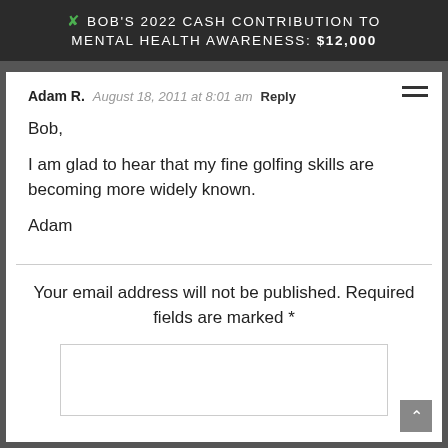🎗 BOB'S 2022 CASH CONTRIBUTION TO MENTAL HEALTH AWARENESS: $12,000
Adam R.   August 18, 2011 at 8:01 am   Reply
Bob,

I am glad to hear that my fine golfing skills are becoming more widely known.

Adam
Your email address will not be published. Required fields are marked *